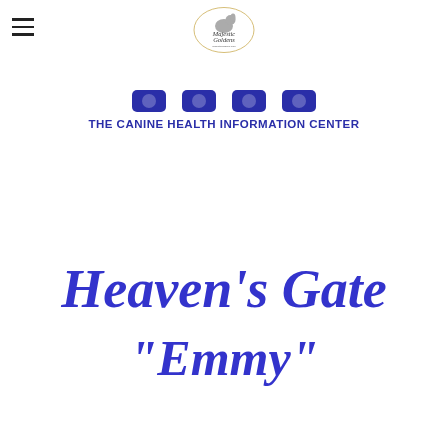[Figure (logo): Majestic Goldens logo with decorative script text and dog illustration]
[Figure (logo): CHIC - The Canine Health Information Center banner with blue paw/shield icons and bold blue text]
Heaven's Gate
"Emmy"